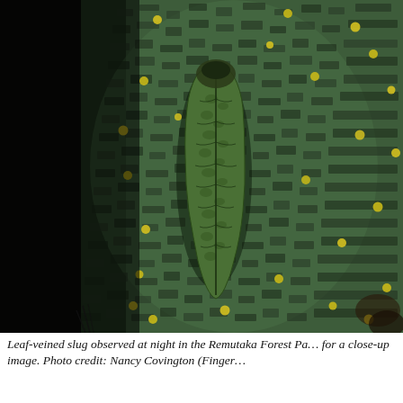[Figure (photo): Close-up night photograph of a leaf-veined slug resting on a textured tree bark surface covered in green algae and small yellow spots. The slug is elongated, green with visible leaf-like veining on its dorsal surface, photographed in the Remutaka Forest Park.]
Leaf-veined slug observed at night in the Remutaka Forest Pa... for a close-up image. Photo credit: Nancy Covington (Finger...